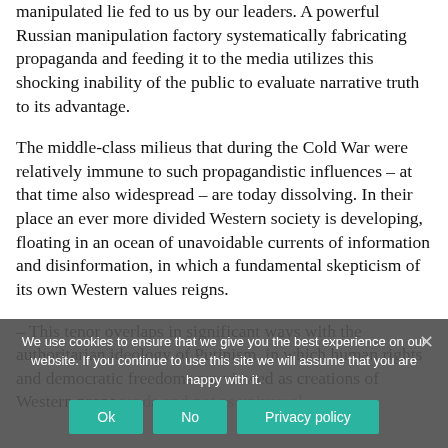manipulated lie fed to us by our leaders. A powerful Russian manipulation factory systematically fabricating propaganda and feeding it to the media utilizes this shocking inability of the public to evaluate narrative truth to its advantage.
The middle-class milieus that during the Cold War were relatively immune to such propagandistic influences – at that time also widespread – are today dissolving. In their place an ever more divided Western society is developing, floating in an ocean of unavoidable currents of information and disinformation, in which a fundamental skepticism of its own Western values reigns.
– This tenor overlaps in significant ways with the authoritarian ideology of Putinism, in which human rights and democratic freedoms are viewed as creations of Western propaganda and not as universal
We use cookies to ensure that we give you the best experience on our website. If you continue to use this site we will assume that you are happy with it.